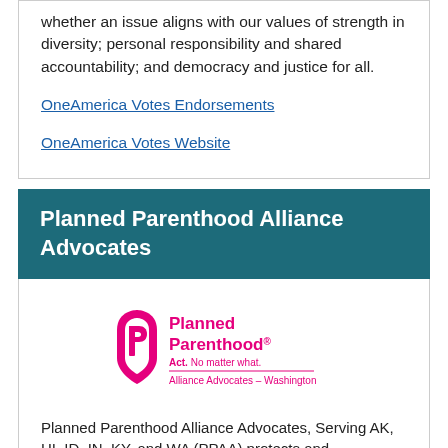whether an issue aligns with our values of strength in diversity; personal responsibility and shared accountability; and democracy and justice for all.
OneAmerica Votes Endorsements
OneAmerica Votes Website
Planned Parenthood Alliance Advocates
[Figure (logo): Planned Parenthood Act. No matter what. Alliance Advocates – Washington logo in pink and magenta with shield/P icon]
Planned Parenthood Alliance Advocates, Serving AK, HI, ID, IN, KY, and WA (PPAA) protects and